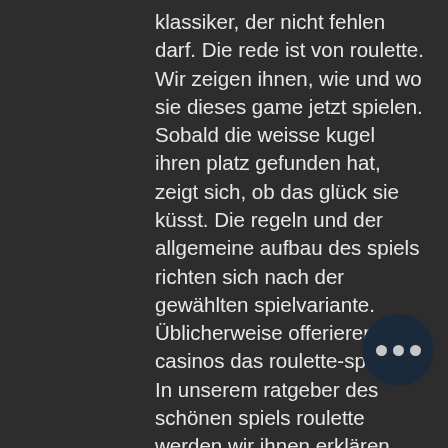klassiker, der nicht fehlen darf. Die rede ist von roulette. Wir zeigen ihnen, wie und wo sie dieses game jetzt spielen. Sobald die weisse kugel ihren platz gefunden hat, zeigt sich, ob das glück sie küsst. Die regeln und der allgemeine aufbau des spiels richten sich nach der gewählten spielvariante. Üblicherweise offerieren casinos das roulette-spiel als. In unserem ratgeber des schönen spiels roulette werden wir ihnen erklären, wie man die grundlage fürs gewinnen im casino legt. Wir nennen unseren ratgeber. Wir erklären ihnen die roulette regeln innerhalb von 5 minuten. Einfacher kommen sie nicht an ihre ersten gewinne im online casino Fair roulette wird auch amerikanisches roulette genannt und folgt weitgehend den regeln der französischen variante, ist jedoch rasant und. Für das spiel dient ein tisch mit e roulette-kessel, der einen ring mit numerierten farbigen zahlenfächern